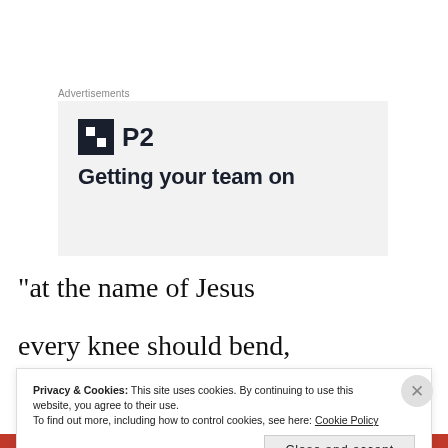Advertisements
[Figure (logo): P2 logo with square icon containing two white squares on dark background, followed by bold text 'Getting your team on']
“at the name of Jesus
every knee should bend,
Privacy & Cookies: This site uses cookies. By continuing to use this website, you agree to their use. To find out more, including how to control cookies, see here: Cookie Policy
Close and accept